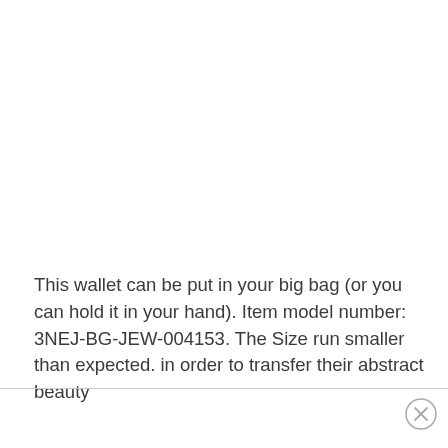This wallet can be put in your big bag (or you can hold it in your hand). Item model number: 3NEJ-BG-JEW-004153. The Size run smaller than expected. in order to transfer their abstract beauty